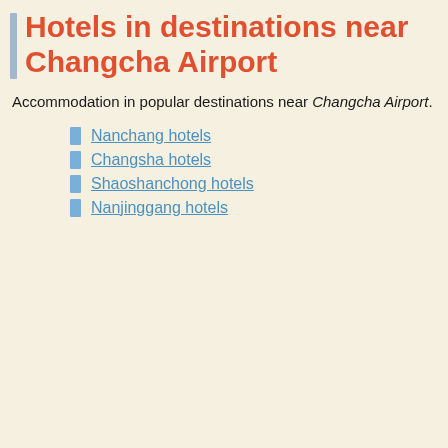Hotels in destinations near Changcha Airport
Accommodation in popular destinations near Changcha Airport.
Nanchang hotels
Changsha hotels
Shaoshanchong hotels
Nanjinggang hotels